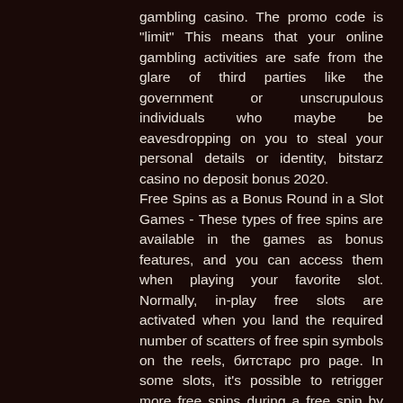gambling casino. The promo code is "limit" This means that your online gambling activities are safe from the glare of third parties like the government or unscrupulous individuals who maybe be eavesdropping on you to steal your personal details or identity, bitstarz casino no deposit bonus 2020.
Free Spins as a Bonus Round in a Slot Games - These types of free spins are available in the games as bonus features, and you can access them when playing your favorite slot. Normally, in-play free slots are activated when you land the required number of scatters of free spin symbols on the reels, битстарс pro page. In some slots, it's possible to retrigger more free spins during a free spin by setting up the required number of scatters on the reels.
Онлайн casino bitstarz ✓ рабочее зеркало 2020 для игры на деньги. User: bitstarz